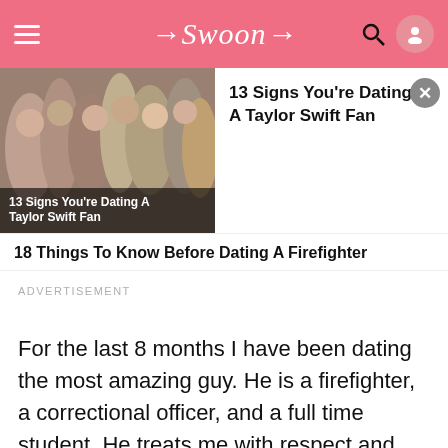Swoon
[Figure (photo): Crowd photo with overlay text: 13 Signs You're Dating A Taylor Swift Fan]
13 Signs You're Dating A Taylor Swift Fan
18 Things To Know Before Dating A Firefighter
ADVERTISEMENT
For the last 8 months I have been dating the most amazing guy. He is a firefighter, a correctional officer, and a full time student. He treats me with respect and shows me lots of love. With being a firefighters girlfriends comes lots of other things.